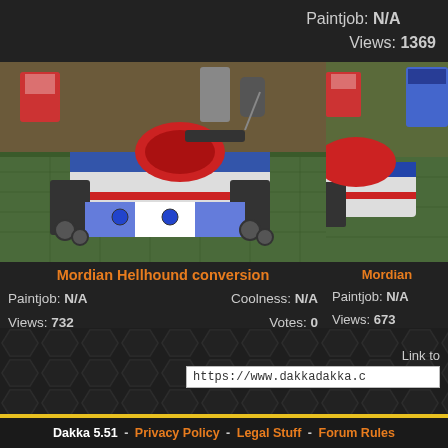Paintjob: N/A
Views: 1369
[Figure (photo): Miniature wargaming tank model (Mordian Hellhound conversion) painted in red, white and blue with tracked chassis, on a green cutting mat with hobby supplies in background]
Mordian Hellhound conversion
Paintjob: N/A   Coolness: N/A
Views: 732        Votes: 0
[Figure (photo): Partial view of another Mordian miniature tank model, cropped on right side]
Paintjob: N/A
Views: 673
Link to
https://www.dakkadakka.c
Dakka 5.51 - Privacy Policy - Legal Stuff - Forum Rules